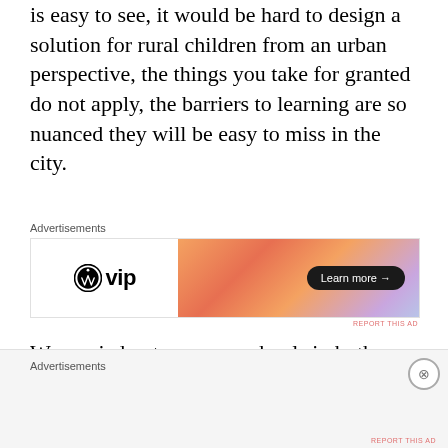is easy to see, it would be hard to design a solution for rural children from an urban perspective, the things you take for granted do not apply, the barriers to learning are so nuanced they will be easy to miss in the city.
[Figure (other): WordPress VIP advertisement banner with orange gradient on right side and Learn more button]
We carried out summer schools in both locations and I observed how the children learned and how the learning considerations...
Advertisements